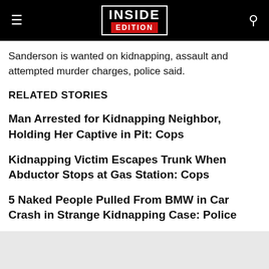INSIDE EDITION
Sanderson is wanted on kidnapping, assault and attempted murder charges, police said.
RELATED STORIES
Man Arrested for Kidnapping Neighbor, Holding Her Captive in Pit: Cops
Kidnapping Victim Escapes Trunk When Abductor Stops at Gas Station: Cops
5 Naked People Pulled From BMW in Car Crash in Strange Kidnapping Case: Police